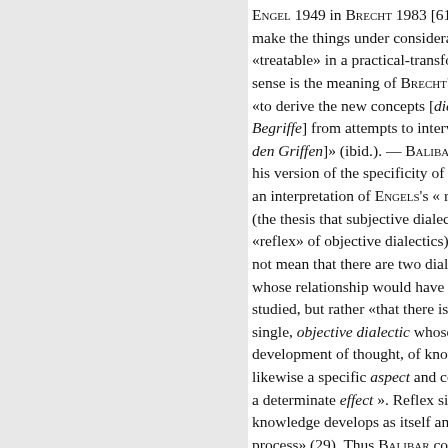ENGEL 1949 in BRECHT 1983 [619 make the things under considera «treatable» in a practical-transfo sense is the meaning of BRECHT's «to derive the new concepts [die Begriffe] from attempts to interve den Griffen]» (ibid.). — BALIBAR de his version of the specificity of co an interpretation of ENGELS's « re (the thesis that subjective dialect «reflex» of objective dialectics): t not mean that there are two diale whose relationship would have to studied, but rather «that there is single, objective dialectic whose development of thought, of know likewise a specific aspect and co a determinate effect ». Reflex si knowledge develops as itself an process» (29). Thus BALIBAR cou the thesis of the universality of th contradiction, even though there